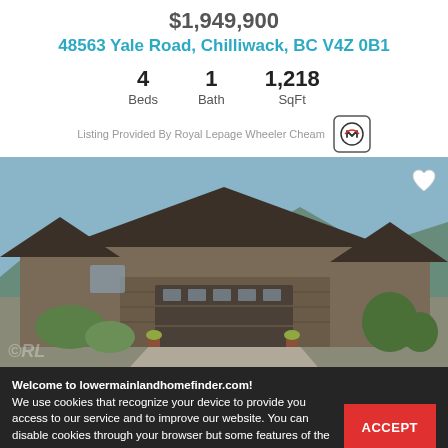$1,949,900
48563 Yale Road, Chilliwack, BC V4Z 0B1
4 Beds  1 Bath  1,218 SqFt
Listing Provided By Royal Lepage Wheeler Cheam
[Figure (photo): Exterior photo of a large two-storey residential house with stone facade, dark brown garage door, lush green landscaping, and mountain backdrop]
Welcome to lowermainlandhomefinder.com!
We use cookies that recognize your device to provide you access to our service and to improve our website. You can disable cookies through your browser but some features of the site will no longer be available. To read our Privacy Policy, click here.
McLaren Drive, Chilliwack, BC V2R 0A3